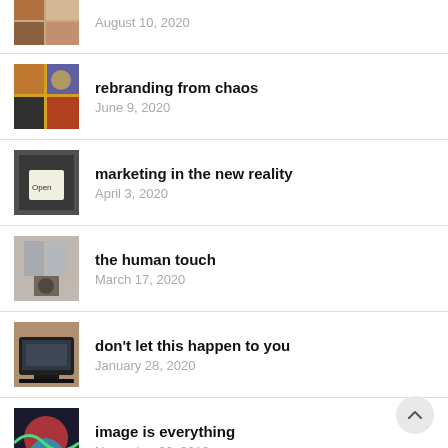August 10, 2020
rebranding from chaos
June 9, 2020
marketing in the new reality
April 3, 2020
the human touch
March 17, 2020
don't let this happen to you
January 28, 2020
image is everything
November 20, 2019